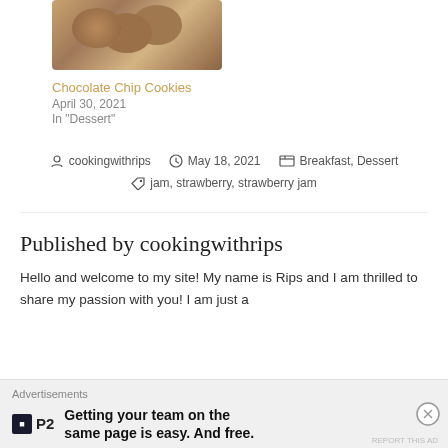[Figure (photo): Photo of chocolate chip cookies in a brown bowl, partially visible at top of page]
Chocolate Chip Cookies
April 30, 2021
In "Dessert"
cookingwithrips   May 18, 2021   Breakfast, Dessert
jam, strawberry, strawberry jam
Published by cookingwithrips
Hello and welcome to my site! My name is Rips and I am thrilled to share my passion with you! I am just a
Advertisements
Getting your team on the same page is easy. And free.